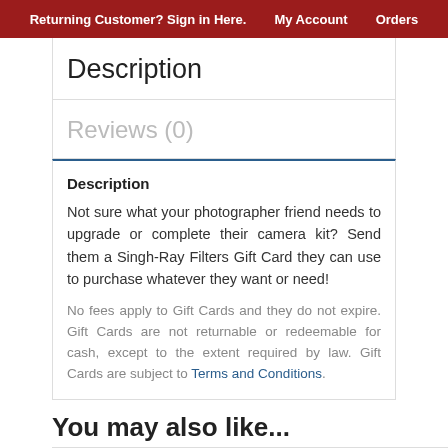Returning Customer? Sign in Here.   My Account   Orders
Description
Reviews (0)
Description
Not sure what your photographer friend needs to upgrade or complete their camera kit? Send them a Singh-Ray Filters Gift Card they can use to purchase whatever they want or need!
No fees apply to Gift Cards and they do not expire. Gift Cards are not returnable or redeemable for cash, except to the extent required by law. Gift Cards are subject to Terms and Conditions.
You may also like...